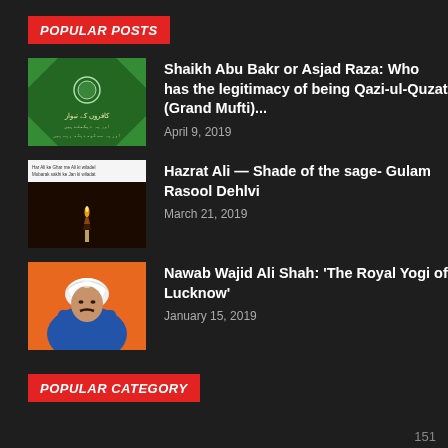POPULAR POSTS
[Figure (photo): Green background with Urdu text, logo, decorative patterns]
Shaikh Abu Bakr or Asjad Raza: Who has the legitimacy of being Qazi-ul-Quzat (Grand Mufti)...
April 9, 2019
[Figure (photo): Dark image with a lit candle or matchstick, text overlay at top]
Hazrat Ali — Shade of the sage- Gulam Rasool Dehlvi
March 21, 2019
[Figure (illustration): Illustrated portrait of a man in regal attire with white turban on blue/orange background]
Nawab Wajid Ali Shah: 'The Royal Yogi of Lucknow'
January 15, 2019
POPULAR CATEGORY
151